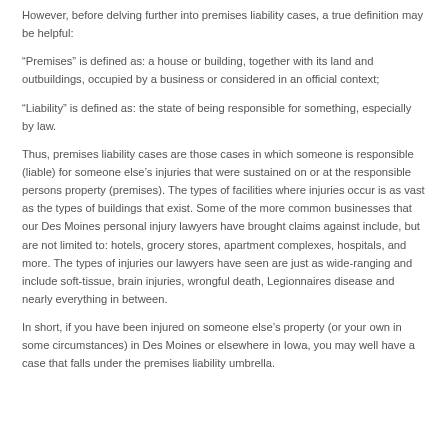However, before delving further into premises liability cases, a true definition may be helpful:
“Premises” is defined as: a house or building, together with its land and outbuildings, occupied by a business or considered in an official context;
“Liability” is defined as: the state of being responsible for something, especially by law.
Thus, premises liability cases are those cases in which someone is responsible (liable) for someone else’s injuries that were sustained on or at the responsible persons property (premises). The types of facilities where injuries occur is as vast as the types of buildings that exist. Some of the more common businesses that our Des Moines personal injury lawyers have brought claims against include, but are not limited to: hotels, grocery stores, apartment complexes, hospitals, and more. The types of injuries our lawyers have seen are just as wide-ranging and include soft-tissue, brain injuries, wrongful death, Legionnaires disease and nearly everything in between.
In short, if you have been injured on someone else’s property (or your own in some circumstances) in Des Moines or elsewhere in Iowa, you may well have a case that falls under the premises liability umbrella.